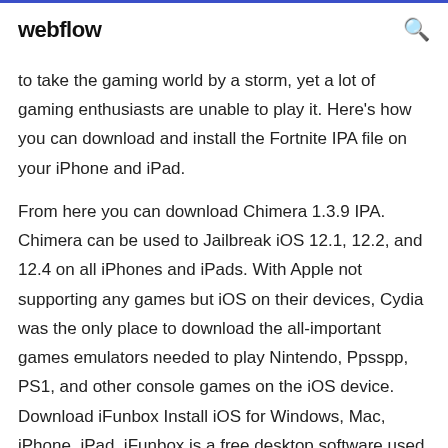webflow
to take the gaming world by a storm, yet a lot of gaming enthusiasts are unable to play it. Here's how you can download and install the Fortnite IPA file on your iPhone and iPad.
From here you can download Chimera 1.3.9 IPA. Chimera can be used to Jailbreak iOS 12.1, 12.2, and 12.4 on all iPhones and iPads. With Apple not supporting any games but iOS on their devices, Cydia was the only place to download the all-important games emulators needed to play Nintendo, Ppsspp, PS1, and other console games on the iOS device. Download iFunbox Install iOS for Windows, Mac, iPhone, iPad. iFunbox is a free desktop software used for...